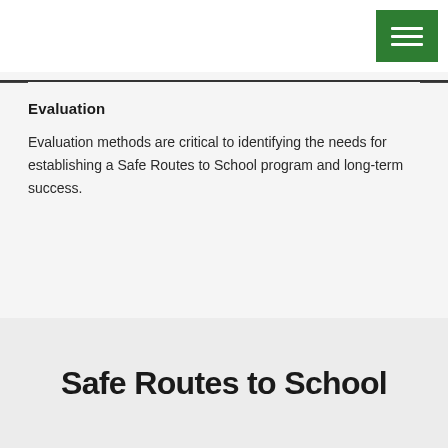[Figure (other): Green hamburger menu button in top right corner of page header]
Evaluation
Evaluation methods are critical to identifying the needs for establishing a Safe Routes to School program and long-term success.
Safe Routes to School